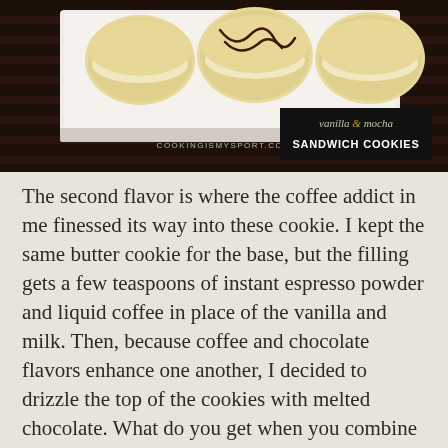[Figure (photo): Photo of vanilla and mocha sandwich cookies on a white plate with chocolate drizzle, dark background. Watermark: COOKINGISMYSPORT.COM. Title box overlay: 'vanilla & mocha SANDWICH COOKIES']
The second flavor is where the coffee addict in me finessed its way into these cookie. I kept the same butter cookie for the base, but the filling gets a few teaspoons of instant espresso powder and liquid coffee in place of the vanilla and milk. Then, because coffee and chocolate flavors enhance one another, I decided to drizzle the top of the cookies with melted chocolate. What do you get when you combine coffee & chocolate? Mocha, that’s what. And there you have it.
I knew that these would be pretty good when I made them, but listen. They are REALLY good. They surpassed my expectations. They’re better